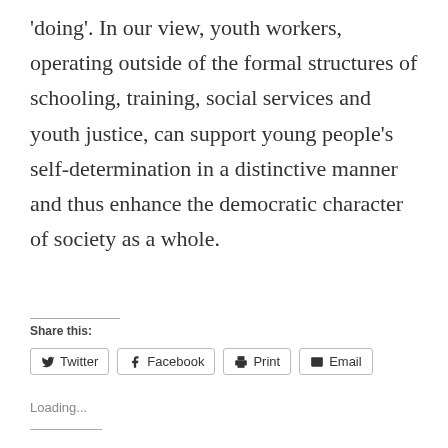'doing'. In our view, youth workers, operating outside of the formal structures of schooling, training, social services and youth justice, can support young people's self-determination in a distinctive manner and thus enhance the democratic character of society as a whole.
Share this:
Twitter  Facebook  Print  Email
Loading...